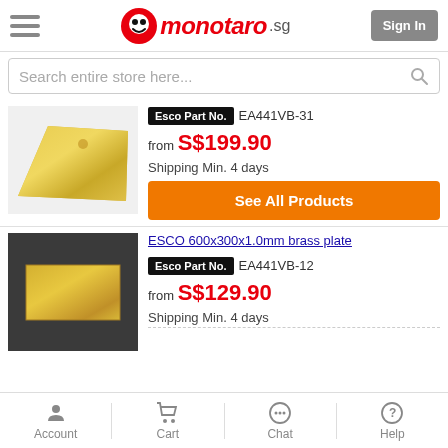monotaro.sg | Sign In
Search entire store here...
Esco Part No. EA441VB-31
from S$199.90
Shipping Min. 4 days
See All Products
ESCO 600x300x1.0mm brass plate
Esco Part No. EA441VB-12
from S$129.90
Shipping Min. 4 days
Account | Cart | Chat | Help